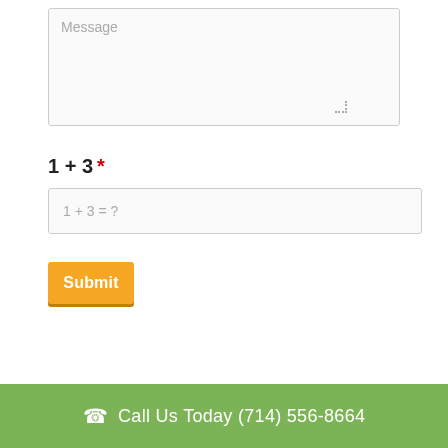Message
1 + 3 *
1 + 3 = ?
Submit
Call Us Today (714) 556-8664